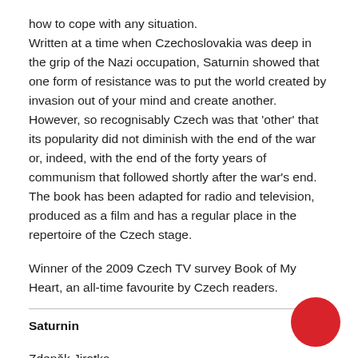how to cope with any situation. Written at a time when Czechoslovakia was deep in the grip of the Nazi occupation, Saturnin showed that one form of resistance was to put the world created by invasion out of your mind and create another. However, so recognisably Czech was that 'other' that its popularity did not diminish with the end of the war or, indeed, with the end of the forty years of communism that followed shortly after the war's end. The book has been adapted for radio and television, produced as a film and has a regular place in the repertoire of the Czech stage.
Winner of the 2009 Czech TV survey Book of My Heart, an all-time favourite by Czech readers.
Saturnin
Zdeněk Jirotka
Первое своё публикацию з 1942 році. Saturnin